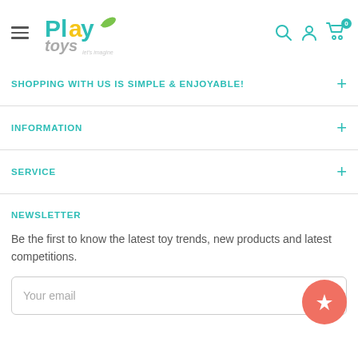Play toys – site header with navigation, search, account, and cart icons
SHOPPING WITH US IS SIMPLE & ENJOYABLE!
INFORMATION
SERVICE
NEWSLETTER
Be the first to know the latest toy trends, new products and latest competitions.
Your email